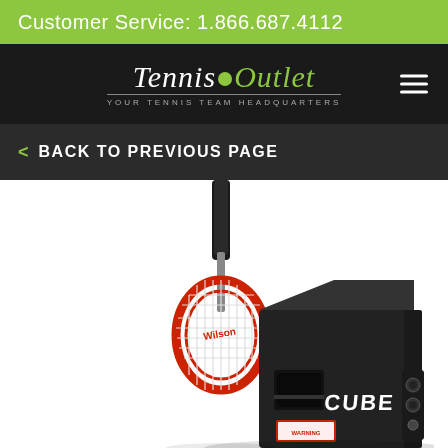Customer Service: 1.866.687.4112
[Figure (logo): Tennis Outlet logo with green tennis ball dot, italic serif text, tagline 'YOUR TENNIS TEAM HEADQUARTERS', and hamburger menu icon]
< BACK TO PREVIOUS PAGE
[Figure (photo): Product photo showing a Wilson tennis racket leaning against a black cube-shaped ball machine with 'CUBE' branding and control panel on the right side]